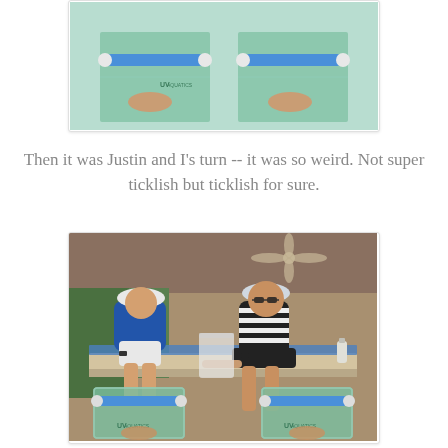[Figure (photo): Top partial photo showing feet in fish spa tanks with blue foam rollers, UV branding on glass tanks, outdoor tropical setting.]
Then it was Justin and I's turn -- it was so weird. Not super ticklish but ticklish for sure.
[Figure (photo): A man in a blue shirt and white cap and a woman in a striped dress and white cap sitting side by side with their feet in separate glass fish spa tanks with blue foam rollers. Tropical open-air pavilion setting with ceiling fan, lush greenery in background, UV branded tanks.]